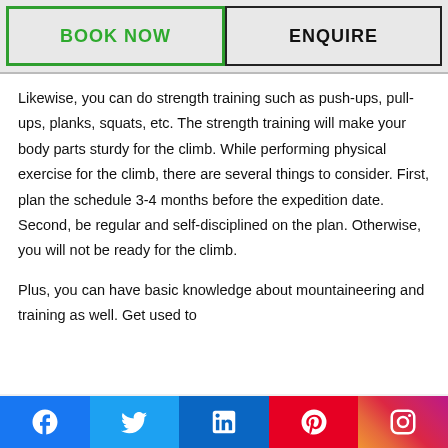BOOK NOW
ENQUIRE
Likewise, you can do strength training such as push-ups, pull-ups, planks, squats, etc. The strength training will make your body parts sturdy for the climb. While performing physical exercise for the climb, there are several things to consider. First, plan the schedule 3-4 months before the expedition date. Second, be regular and self-disciplined on the plan. Otherwise, you will not be ready for the climb.

Plus, you can have basic knowledge about mountaineering and training as well. Get used to
[Figure (infographic): Social media icon bar at the bottom with Facebook (blue), Twitter (light blue), LinkedIn (dark blue), Pinterest (red), and Instagram (gradient) icons]